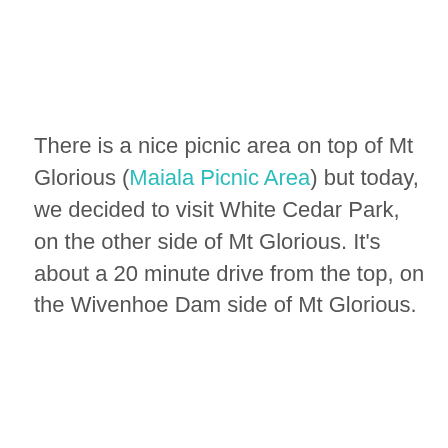There is a nice picnic area on top of Mt Glorious (Maiala Picnic Area) but today, we decided to visit White Cedar Park, on the other side of Mt Glorious. It's about a 20 minute drive from the top, on the Wivenhoe Dam side of Mt Glorious.